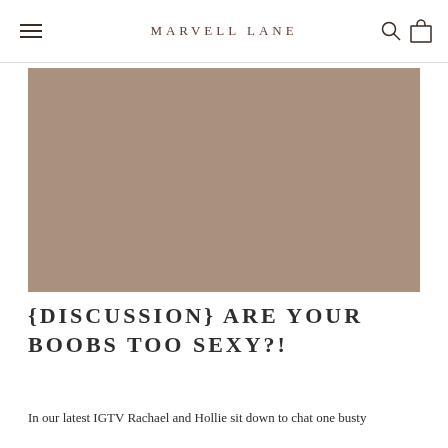MARVELL LANE
[Figure (photo): Large rectangular image placeholder in muted taupe/brown tone, representing a hero image for the blog post]
{DISCUSSION} ARE YOUR BOOBS TOO SEXY?!
In our latest IGTV Rachael and Hollie sit down to chat one busty